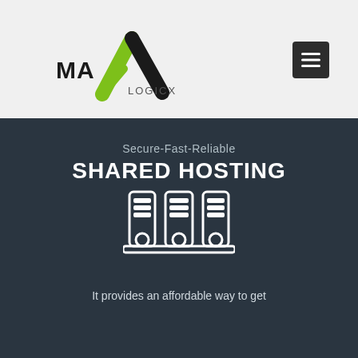[Figure (logo): MaxLogicx logo with black and green X shape and text MAX LOGICX]
[Figure (other): Dark hamburger/menu button icon (three horizontal lines) on dark grey square background]
Secure-Fast-Reliable
SHARED HOSTING
[Figure (illustration): White icon of three binder/server racks on dark blue-grey background]
It provides an affordable way to get